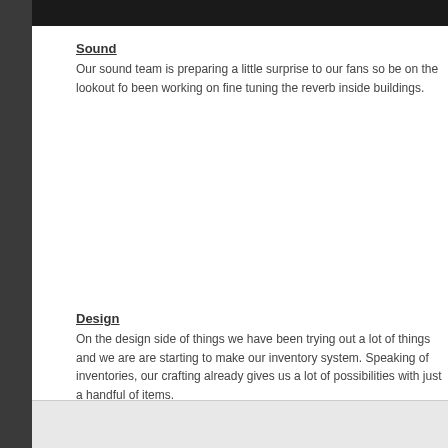Sound
Our sound team is preparing a little surprise to our fans so be on the lookout for been working on fine tuning the reverb inside buildings.
Design
On the design side of things we have been trying out a lot of things and we are are starting to make our inventory system. Speaking of inventories, our crafting already gives us a lot of possibilities with just a handful of items.
[Figure (photo): Light grey textured background image at the bottom of the page]